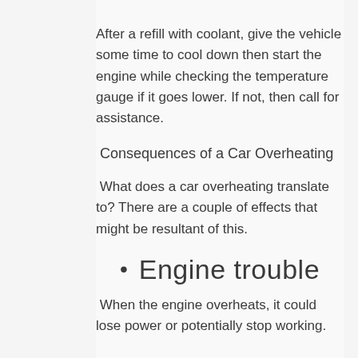After a refill with coolant, give the vehicle some time to cool down then start the engine while checking the temperature gauge if it goes lower. If not, then call for assistance.
Consequences of a Car Overheating
What does a car overheating translate to? There are a couple of effects that might be resultant of this.
Engine trouble
When the engine overheats, it could lose power or potentially stop working.